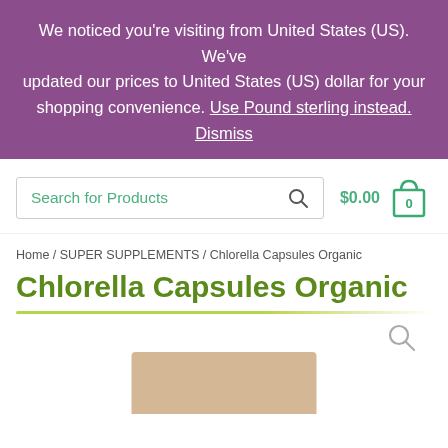We noticed you're visiting from United States (US). We've updated our prices to United States (US) dollar for your shopping convenience. Use Pound sterling instead. Dismiss
Search for Products  $0.00  0
Home / SUPER SUPPLEMENTS / Chlorella Capsules Organic
Chlorella Capsules Organic
[Figure (screenshot): Partial product image at bottom of page, tan/brown colored packaging]